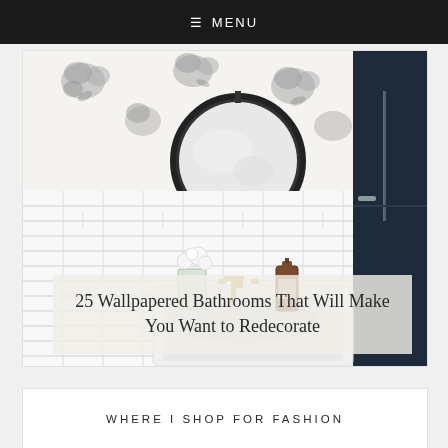≡ MENU
[Figure (photo): Bathroom interior with black and white floral wallpaper, round black-framed mirror, white subway tile walls, white sink with gold faucet, glass vase with white flowers, dark navy door on right side]
25 Wallpapered Bathrooms That Will Make You Want to Redecorate
WHERE I SHOP FOR FASHION